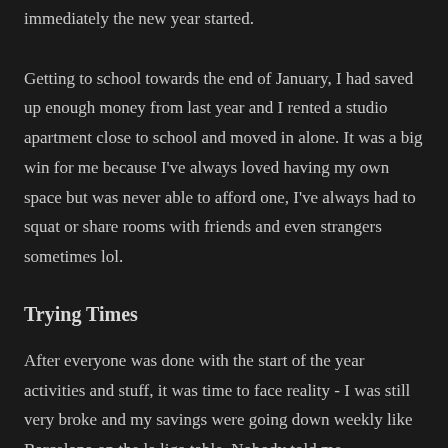immediately the new year started. Getting to school towards the end of January, I had saved up enough money from last year and I rented a studio apartment close to school and moved in alone. It was a big win for me because I've always loved having my own space but was never able to afford one, I've always had to squat or share rooms with friends and even strangers sometimes lol.
Trying Times
After everyone was done with the start of the year activities and stuff, it was time to face reality - I was still very broke and my savings were going down weekly like Barcelona on the la liga table. Nobody told me